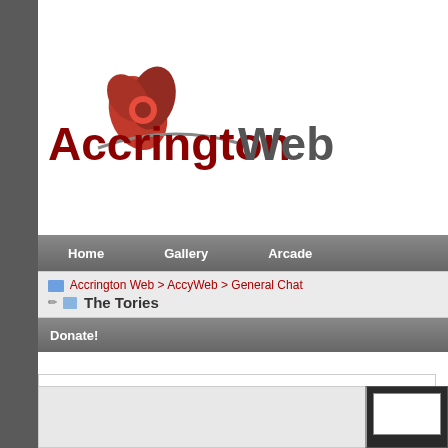[Figure (logo): AccringtonWeb logo with red rose/spiral icon and grey swoosh above the text]
Home | Gallery | Arcade
Accrington Web > AccyWeb > General Chat
The Tories
Donate!
General Chat General chat - common sense in here please. Decent serious disc